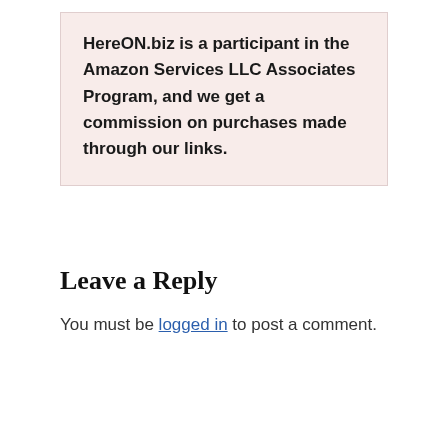HereON.biz is a participant in the Amazon Services LLC Associates Program, and we get a commission on purchases made through our links.
Leave a Reply
You must be logged in to post a comment.